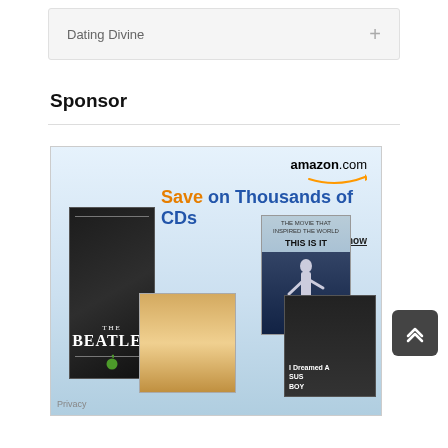Dating Divine +
Sponsor
[Figure (screenshot): Amazon.com advertisement banner showing 'Save on Thousands of CDs' with product images including The Beatles box set, Michael Jackson 'This Is It', a Taylor Swift album, and Susan Boyle album. Includes 'Shop now' link and Privacy label.]